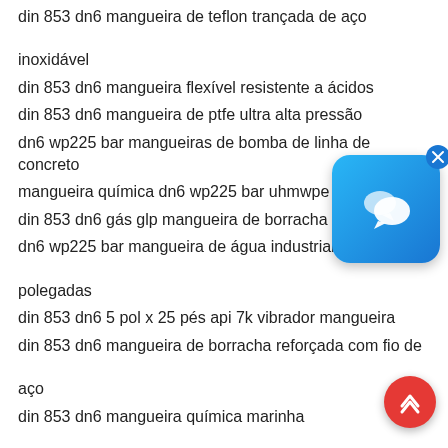din 853 dn6 mangueira de teflon trançada de aço inoxidável
din 853 dn6 mangueira flexível resistente a ácidos
din 853 dn6 mangueira de ptfe ultra alta pressão
dn6 wp225 bar mangueiras de bomba de linha de concreto
mangueira química dn6 wp225 bar uhmwpe
din 853 dn6 gás glp mangueira de borracha
dn6 wp225 bar mangueira de água industrial de 2 polegadas
din 853 dn6 5 pol x 25 pés api 7k vibrador mangueira
din 853 dn6 mangueira de borracha reforçada com fio de aço
din 853 dn6 mangueira química marinha